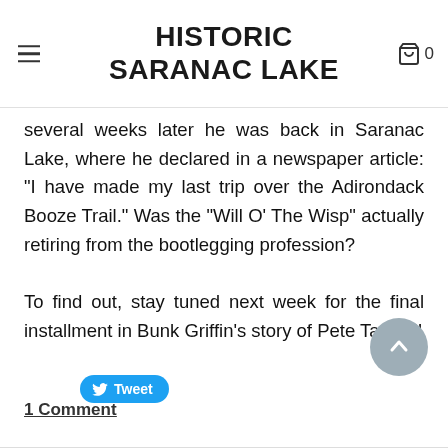HISTORIC SARANAC LAKE
several weeks later he was back in Saranac Lake, where he declared in a newspaper article: "I have made my last trip over the Adirondack Booze Trail." Was the "Will O' The Wisp" actually retiring from the bootlegging profession?

To find out, stay tuned next week for the final installment in Bunk Griffin's story of Pete Tanzini!
[Figure (other): Tweet button (Twitter share button)]
[Figure (other): Scroll to top button (grey circle with upward arrow)]
1 Comment